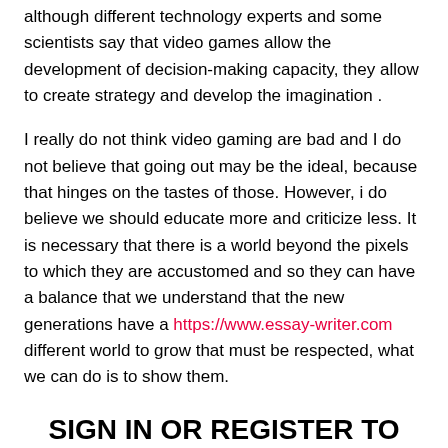although different technology experts and some scientists say that video games allow the development of decision-making capacity, they allow to create strategy and develop the imagination .
I really do not think video gaming are bad and I do not believe that going out may be the ideal, because that hinges on the tastes of those. However, i do believe we should educate more and criticize less. It is necessary that there is a world beyond the pixels to which they are accustomed and so they can have a balance that we understand that the new generations have a https://www.essay-writer.com different world to grow that must be respected, what we can do is to show them.
SIGN IN OR REGISTER TO PUBLISH COMMENTS